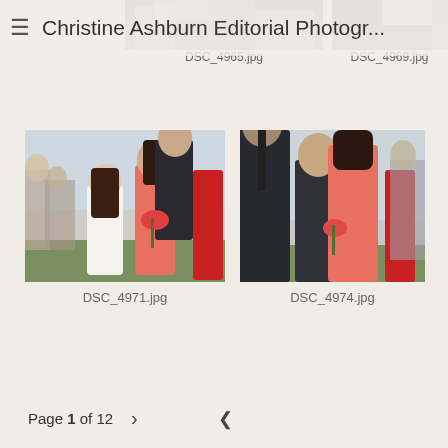Christine Ashburn Editorial Photogr...
DSC_4965.jpg
DSC_4969.jpg
[Figure (photo): Wedding photo showing a young girl in white dress, a woman in pink/coral dress, and a man in dark suit, outdoors at a wedding ceremony with other guests in background]
DSC_4971.jpg
[Figure (photo): Wedding photo showing a man in dark suit with tie, a woman seen from behind in coral/pink dress holding flowers, and another man smiling, with wedding guests in background]
DSC_4974.jpg
Page 1 of 12